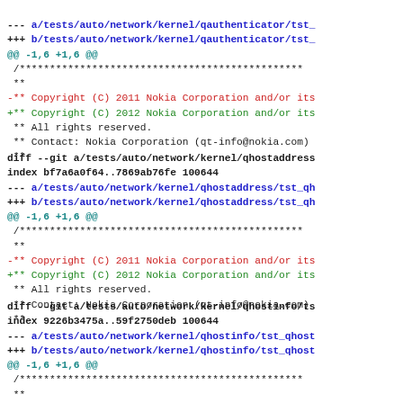--- a/tests/auto/network/kernel/qauthenticator/tst_
+++ b/tests/auto/network/kernel/qauthenticator/tst_
@@ -1,6 +1,6 @@
 /**
  *
 -** Copyright (C) 2011 Nokia Corporation and/or its
 +** Copyright (C) 2012 Nokia Corporation and/or its
  ** All rights reserved.
  ** Contact: Nokia Corporation (qt-info@nokia.com)
  **
diff --git a/tests/auto/network/kernel/qhostaddress
index bf7a6a0f64..7869ab76fe 100644
--- a/tests/auto/network/kernel/qhostaddress/tst_qh
+++ b/tests/auto/network/kernel/qhostaddress/tst_qh
@@ -1,6 +1,6 @@
 /**
  *
 -** Copyright (C) 2011 Nokia Corporation and/or its
 +** Copyright (C) 2012 Nokia Corporation and/or its
  ** All rights reserved.
  ** Contact: Nokia Corporation (qt-info@nokia.com)
  **
diff --git a/tests/auto/network/kernel/qhostinfo/ts
index 9226b3475a..59f2750deb 100644
--- a/tests/auto/network/kernel/qhostinfo/tst_qhost
+++ b/tests/auto/network/kernel/qhostinfo/tst_qhost
@@ -1,6 +1,6 @@
 /**
  *